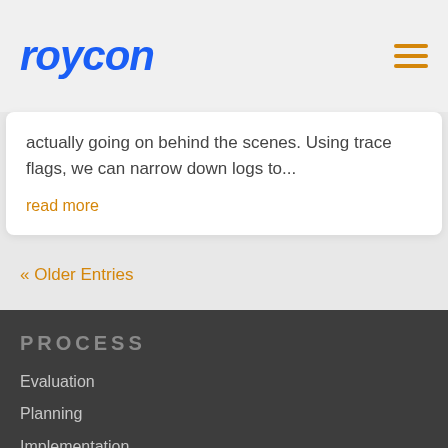[Figure (logo): Roycon company logo in bold italic blue text]
actually going on behind the scenes. Using trace flags, we can narrow down logs to...
read more
« Older Entries
PROCESS
Evaluation
Planning
Implementation
Training